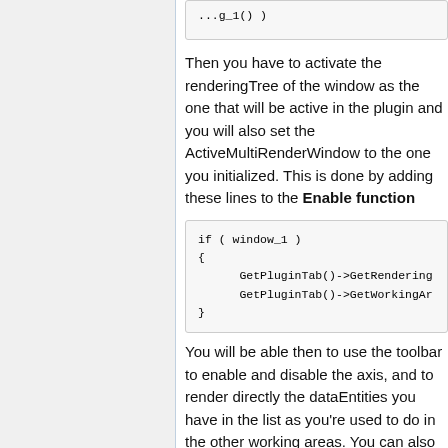[Figure (screenshot): Top partial code block showing end of a function call, partially visible]
Then you have to activate the renderingTree of the window as the one that will be active in the plugin and you will also set the ActiveMultiRenderWindow to the one you initialized. This is done by adding these lines to the Enable function
[Figure (screenshot): Code block: if ( window_1 ) { GetPluginTab()->GetRendering... GetPluginTab()->GetWorkingAr... }]
You will be able then to use the toolbar to enable and disable the axis, and to render directly the dataEntities you have in the list as you're used to do in the other working areas. You can also directly use the Visual Properties widget to change the properties of your node. If